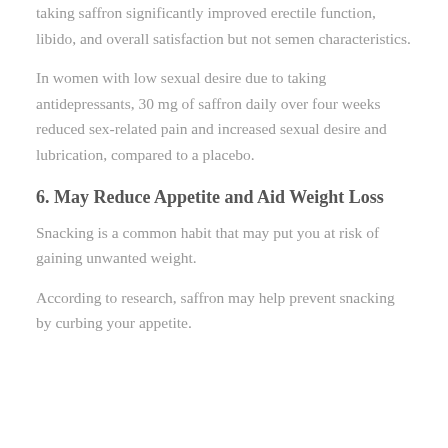taking saffron significantly improved erectile function, libido, and overall satisfaction but not semen characteristics.
In women with low sexual desire due to taking antidepressants, 30 mg of saffron daily over four weeks reduced sex-related pain and increased sexual desire and lubrication, compared to a placebo.
6. May Reduce Appetite and Aid Weight Loss
Snacking is a common habit that may put you at risk of gaining unwanted weight.
According to research, saffron may help prevent snacking by curbing your appetite.